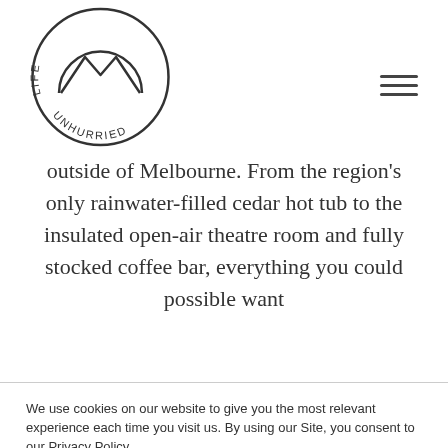[Figure (logo): Life Unhurried logo: circular badge with mountain/arch icon and curved text 'LIFE UNHURRIED']
outside of Melbourne. From the region's only rainwater-filled cedar hot tub to the insulated open-air theatre room and fully stocked coffee bar, everything you could possible want
We use cookies on our website to give you the most relevant experience each time you visit us. By using our Site, you consent to our Privacy Policy.
SETTINGS   ACCEPT   READ MORE